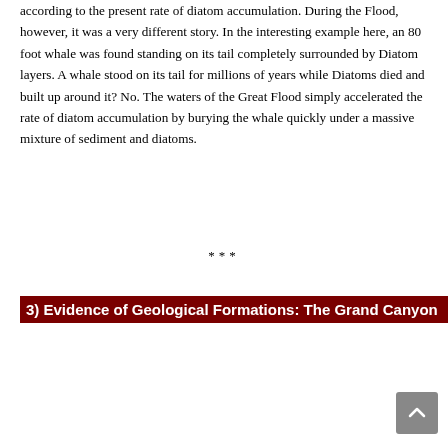according to the present rate of diatom accumulation. During the Flood, however, it was a very different story. In the interesting example here, an 80 foot whale was found standing on its tail completely surrounded by Diatom layers. A whale stood on its tail for millions of years while Diatoms died and built up around it? No. The waters of the Great Flood simply accelerated the rate of diatom accumulation by burying the whale quickly under a massive mixture of sediment and diatoms.
***
3) Evidence of Geological Formations: The Grand Canyon